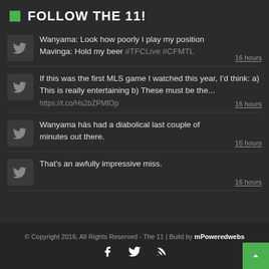FOLLOW THE 11!
Wanyama: Look how poorly I play my position Mavinga: Hold my beer #TFCLive #CFMTL  16 hours
If this was the first MLS game I watched this year, I'd think: a) This is really entertaining b) These must be the... https://t.co/Hs2bZPMfOp  16 hours
Wanyama hás had a diabolical last couple of minutes out there.  16 hours
That's an awfully impressive miss.  16 hours
© Copyright 2016, All Rights Reserved - The 11 | Build by mPoweredwebs